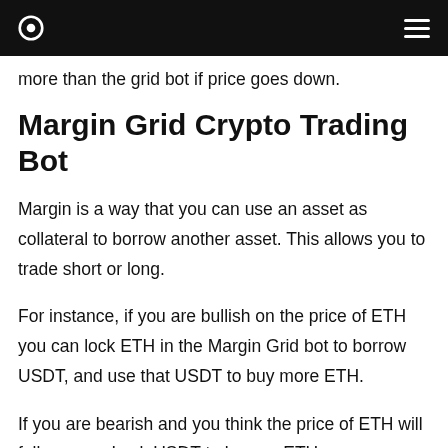more than the grid bot if price goes down.
Margin Grid Crypto Trading Bot
Margin is a way that you can use an asset as collateral to borrow another asset. This allows you to trade short or long.
For instance, if you are bullish on the price of ETH you can lock ETH in the Margin Grid bot to borrow USDT, and use that USDT to buy more ETH.
If you are bearish and you think the price of ETH will fall you can Lock USDT to borrow ETH,